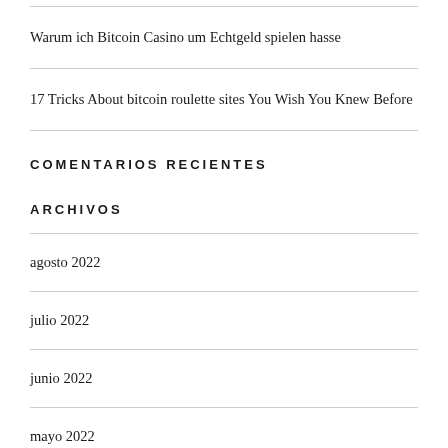Warum ich Bitcoin Casino um Echtgeld spielen hasse
17 Tricks About bitcoin roulette sites You Wish You Knew Before
COMENTARIOS RECIENTES
ARCHIVOS
agosto 2022
julio 2022
junio 2022
mayo 2022